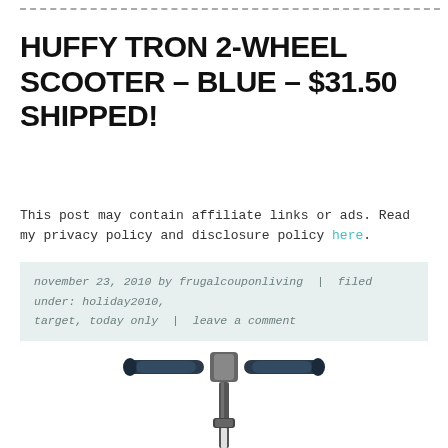HUFFY TRON 2-WHEEL SCOOTER – BLUE – $31.50 SHIPPED!
This post may contain affiliate links or ads. Read my privacy policy and disclosure policy here.
november 23, 2010 by frugalcouponliving | filed under: holiday2010, target, today only | leave a comment
[Figure (photo): Top portion of a blue Huffy Tron 2-wheel scooter showing the handlebars and upper pole on a white background]